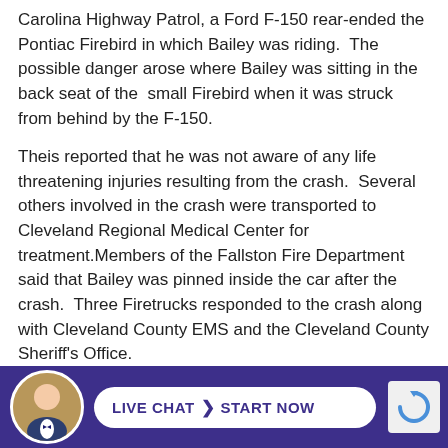Carolina Highway Patrol, a Ford F-150 rear-ended the Pontiac Firebird in which Bailey was riding.  The possible danger arose where Bailey was sitting in the back seat of the  small Firebird when it was struck from behind by the F-150.
Theis reported that he was not aware of any life threatening injuries resulting from the crash.  Several others involved in the crash were transported to Cleveland Regional Medical Center for treatment.Members of the Fallston Fire Department said that Bailey was pinned inside the car after the crash.  Three Firetrucks responded to the crash along with Cleveland County EMS and the Cleveland County Sheriff's Office.
As it stands, there is no report of alcohol being inv... th...
[Figure (infographic): Live chat bar at the bottom with a circular avatar photo of a man in a suit with a bow tie, a white rounded pill button with 'LIVE CHAT > START NOW' text in dark blue, and a reCAPTCHA logo on the right, all on a dark navy/purple background.]